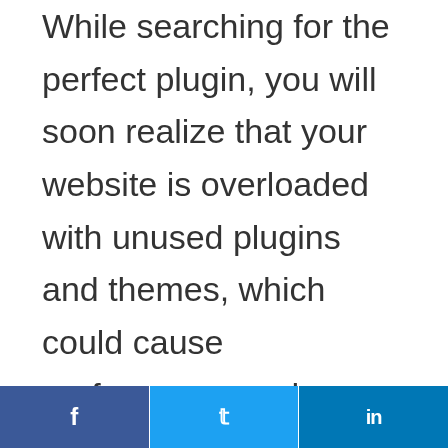While searching for the perfect plugin, you will soon realize that your website is overloaded with unused plugins and themes, which could cause performance and security issues. To keep your WordPress site working properly, the best solution is to deactivate and uninstall any active plugins you are not using when installing new plugins.
f  t  in